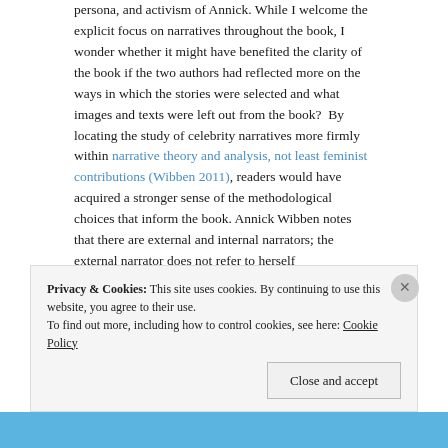persona, and activism of Annick. While I welcome the explicit focus on narratives throughout the book, I wonder whether it might have benefited the clarity of the book if the two authors had reflected more on the ways in which the stories were selected and what images and texts were left out from the book? By locating the study of celebrity narratives more firmly within narrative theory and analysis, not least feminist contributions (Wibben 2011), readers would have acquired a stronger sense of the methodological choices that inform the book. Annick Wibben notes that there are external and internal narrators; the external narrator does not refer to herself
Privacy & Cookies: This site uses cookies. By continuing to use this website, you agree to their use. To find out more, including how to control cookies, see here: Cookie Policy
Close and accept